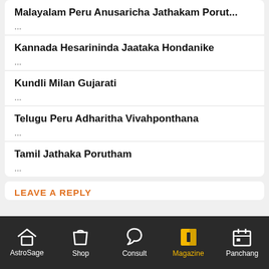Malayalam Peru Anusaricha Jathakam Porut...
...
Kannada Hesarininda Jaataka Hondanike
...
Kundli Milan Gujarati
...
Telugu Peru Adharitha Vivahponthana
...
Tamil Jathaka Porutham
...
LEAVE A REPLY
AstroSage  Shop  Consult  Magazine  Panchang